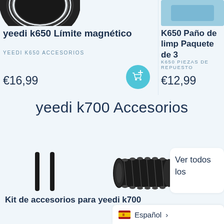yeedi k650 Límite magnético
YEEDI K650 ACCESORIOS
€16,99
K650 Paño de limp Paquete de 3
K650 PIEZAS DE REPUESTO
€12,99
[Figure (infographic): Teal circular add-to-cart button icon]
yeedi k700 Accesorios
[Figure (photo): Two thin black brush side brushes and a main roller brush for yeedi k700]
Kit de accesorios para yeedi k700
Ver todos los
Español >